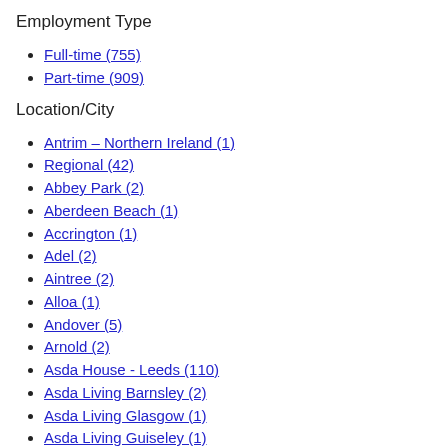Employment Type
Full-time (755)
Part-time (909)
Location/City
Antrim – Northern Ireland (1)
Regional (42)
Abbey Park (2)
Aberdeen Beach (1)
Accrington (1)
Adel (2)
Aintree (2)
Alloa (1)
Andover (5)
Arnold (2)
Asda House - Leeds (110)
Asda Living Barnsley (2)
Asda Living Glasgow (1)
Asda Living Guiseley (1)
Ashington (1)
Ashton (5)
Aspley - Supermarket (1)
Ayr (3)